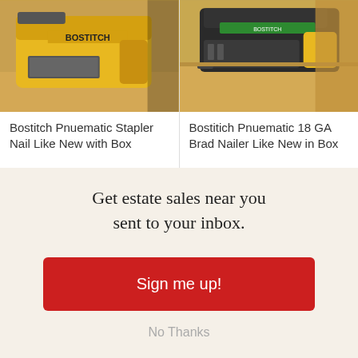[Figure (photo): Bostitch yellow pneumatic stapler nail gun in cardboard box packaging]
Bostitch Pnuematic Stapler Nail Like New with Box
[Figure (photo): Bostitch pneumatic 18 GA brad nailer in cardboard box packaging]
Bostitich Pnuematic 18 GA Brad Nailer Like New in Box
Get estate sales near you sent to your inbox.
Sign me up!
No Thanks